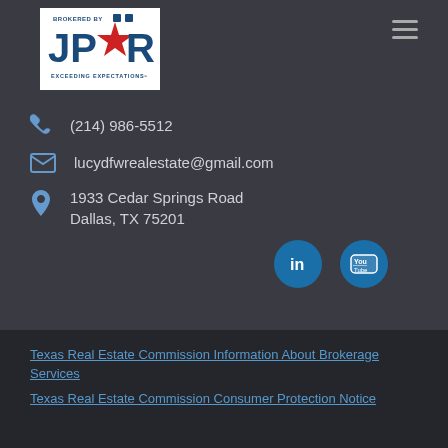[Figure (logo): JPAR real estate logo with text BROKERED BY and EXCEEDING EXPECTATIONS, blue and red star design]
(214) 986-5512
lucydfwrealestate@gmail.com
1933 Cedar Springs Road
Dallas, TX 75201
[Figure (logo): LinkedIn circular icon]
[Figure (logo): YouTube circular icon]
Texas Real Estate Commission Information About Brokerage Services
Texas Real Estate Commission Consumer Protection Notice